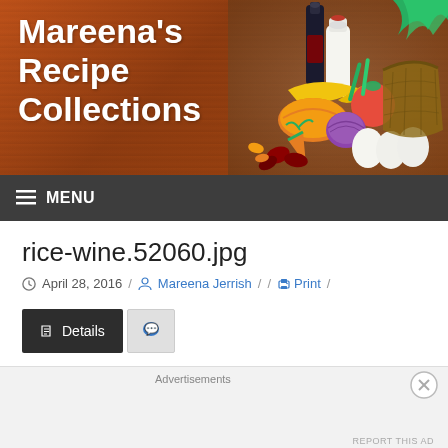[Figure (photo): Website header banner for Mareena's Recipe Collections showing title text on left against wood-textured orange-brown background, with food items (vegetables, eggs, bottle of milk, dark bottle) on the right side]
Mareena's Recipe Collections
≡ MENU
rice-wine.52060.jpg
April 28, 2016 / Mareena Jerrish / / Print /
Details (tab button)
Advertisements
REPORT THIS AD